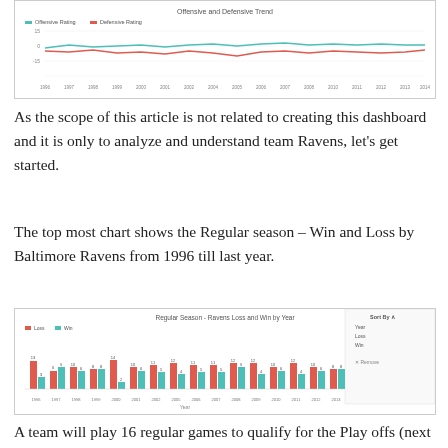[Figure (continuous-plot): Offensive and Defensive Rating trend line chart from 1996 to 2014, showing two lines (teal for Offensive Rating, red/orange for Defensive Rating) fluctuating over years with legend at top-left.]
As the scope of this article is not related to creating this dashboard and it is only to analyze and understand team Ravens, let's get started.
The top most chart shows the Regular season – Win and Loss by Baltimore Ravens from 1996 till last year.
[Figure (grouped-bar-chart): Regular Season - Ravens Loss and Win by Year, grouped bar chart showing red (Loss) and teal (Win) bars by year from 1996 to 2014, with a Sort by panel on the right side.]
A team will play 16 regular games to qualify for the Play offs (next level). From initial analysis we can find Ravens has a good mix of Loss and Win from their